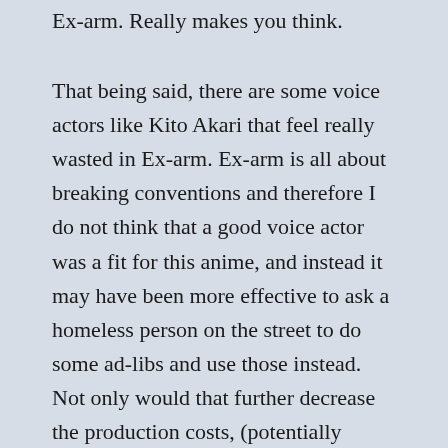Ex-arm. Really makes you think.
That being said, there are some voice actors like Kito Akari that feel really wasted in Ex-arm. Ex-arm is all about breaking conventions and therefore I do not think that a good voice actor was a fit for this anime, and instead it may have been more effective to ask a homeless person on the street to do some ad-libs and use those instead. Not only would that further decrease the production costs, (potentially leading to a season 2), but it would also emphasize the incredible atmosphere of Ex-arm. But maybe the point for Ex-arm's VA casting is for it to stick out like a sore thumb. It's symbolism of the current society